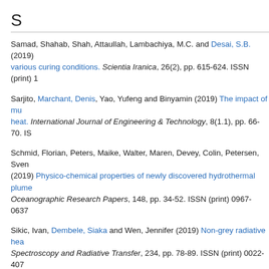S
Samad, Shahab, Shah, Attaullah, Lambachiya, M.C. and Desai, S.B. (2019) various curing conditions. Scientia Iranica, 26(2), pp. 615-624. ISSN (print) 1
Sarjito, Marchant, Denis, Yao, Yufeng and Binyamin (2019) The impact of mu heat. International Journal of Engineering & Technology, 8(1.1), pp. 66-70. IS
Schmid, Florian, Peters, Maike, Walter, Maren, Devey, Colin, Petersen, Sven (2019) Physico-chemical properties of newly discovered hydrothermal plume Oceanographic Research Papers, 148, pp. 34-52. ISSN (print) 0967-0637
Sikic, Ivan, Dembele, Siaka and Wen, Jennifer (2019) Non-grey radiative hea Spectroscopy and Radiative Transfer, 234, pp. 78-89. ISSN (print) 0022-407
Sorce, Salvatore, Malizia, Alessio, Gentile, Vito, Jiang, Pingfei, Atherton, Mar during design. In: 7th International Symposium on End-User Development (IS
T
Tanghetti, G., Goodey, R. J., Divall, S., McNamara, A. M. and McKinley, B. (2 The XVII European Conference on Soil Mechanics and Geotechnical Engine Reykjavik, Iceland.